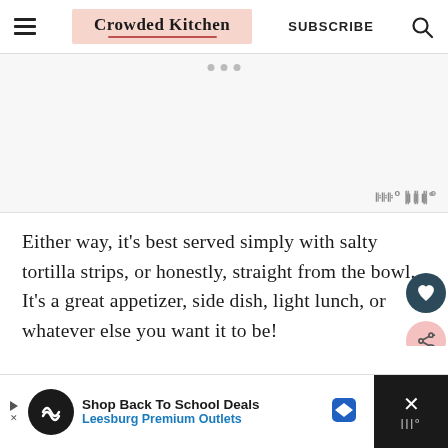Crowded Kitchen — SUBSCRIBE
[Figure (other): Advertisement placeholder area with three dots and Mediavine badge]
Either way, it's best served simply with salty tortilla strips, or honestly, straight from the bowl. It's a great appetizer, side dish, light lunch, or whatever else you want it to be!
[Figure (other): Bottom advertisement banner: Shop Back To School Deals, Leesburg Premium Outlets]